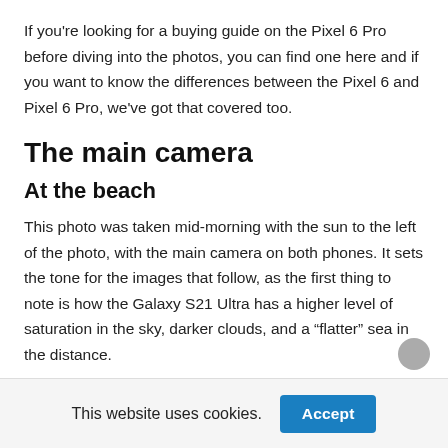If you're looking for a buying guide on the Pixel 6 Pro before diving into the photos, you can find one here and if you want to know the differences between the Pixel 6 and Pixel 6 Pro, we've got that covered too.
The main camera
At the beach
This photo was taken mid-morning with the sun to the left of the photo, with the main camera on both phones. It sets the tone for the images that follow, as the first thing to note is how the Galaxy S21 Ultra has a higher level of saturation in the sky, darker clouds, and a “flatter” sea in the distance.
This website uses cookies.